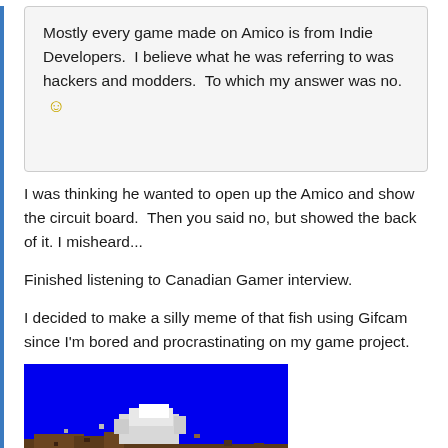Mostly every game made on Amico is from Indie Developers.  I believe what he was referring to was hackers and modders.  To which my answer was no. 🙂
I was thinking he wanted to open up the Amico and show the circuit board.  Then you said no, but showed the back of it. I misheard...
Finished listening to Canadian Gamer interview.
I decided to make a silly meme of that fish using Gifcam since I'm bored and procrastinating on my game project.
[Figure (photo): Pixel art screenshot showing a blue background with a pixelated fish or creature image at the bottom, brown terrain and white/gray shapes visible.]